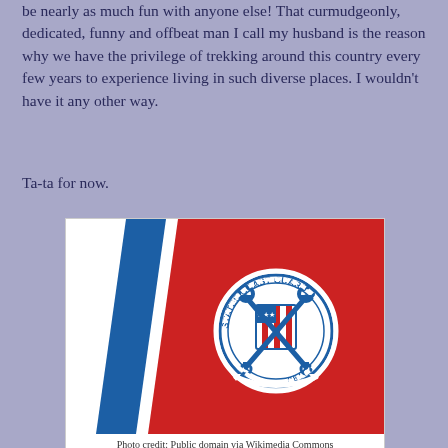be nearly as much fun with anyone else!  That curmudgeonly, dedicated, funny and offbeat man I call my husband is the reason why we have the privilege of trekking around this country every few years to experience living in such diverse places.  I wouldn't have it any other way.
Ta-ta for now.
[Figure (illustration): United States Coast Guard flag/logo: white background with a blue diagonal stripe on the left and a large red parallelogram on the right, with the circular United States Coast Guard seal (1790) in white on the red area.]
Photo credit:  Public domain via Wikimedia Commons